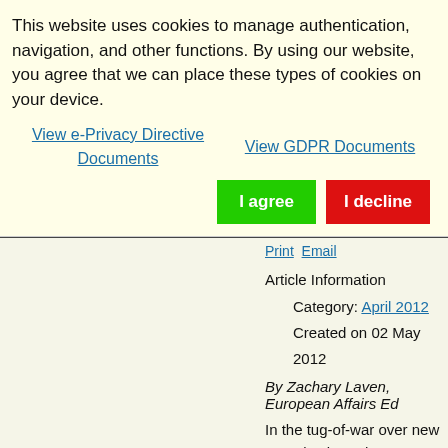This website uses cookies to manage authentication, navigation, and other functions. By using our website, you agree that we can place these types of cookies on your device.
View e-Privacy Directive Documents
View GDPR Documents
I agree
I decline
Print  Email
Article Information
Category: April 2012
Created on 02 May 2012
By Zachary Laven, European Affairs Ed
In the tug-of-war over new EU rules levy change or at least postpone the Europe
Read More
STAKES RISE IN FIGHT OVER EU AIRLI
Print  Email